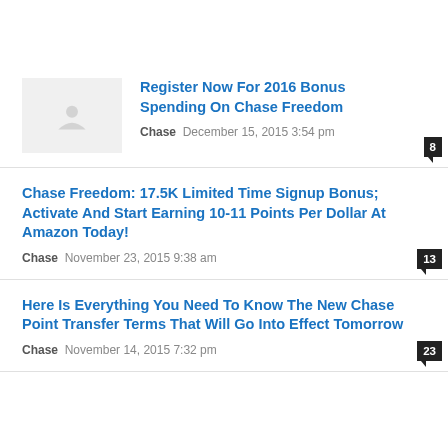Register Now For 2016 Bonus Spending On Chase Freedom | Chase | December 15, 2015 3:54 pm | 8 comments
Chase Freedom: 17.5K Limited Time Signup Bonus; Activate And Start Earning 10-11 Points Per Dollar At Amazon Today! | Chase | November 23, 2015 9:38 am | 13 comments
Here Is Everything You Need To Know The New Chase Point Transfer Terms That Will Go Into Effect Tomorrow | Chase | November 14, 2015 7:32 pm | 23 comments